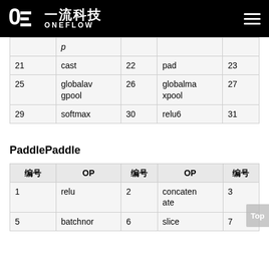OneFlow 一流科技
| 编号 | OP | 编号 | OP | 编号 |
| --- | --- | --- | --- | --- |
| 21 | cast | 22 | pad | 23 |
| 25 | globalavgpool | 26 | globalmaxpool | 27 |
| 29 | softmax | 30 | relu6 | 31 |
PaddlePaddle
| 编号 | OP | 编号 | OP | 编号 |
| --- | --- | --- | --- | --- |
| 1 | relu | 2 | concatenate | 3 |
| 5 | batchnor... | 6 | slice | 7 |